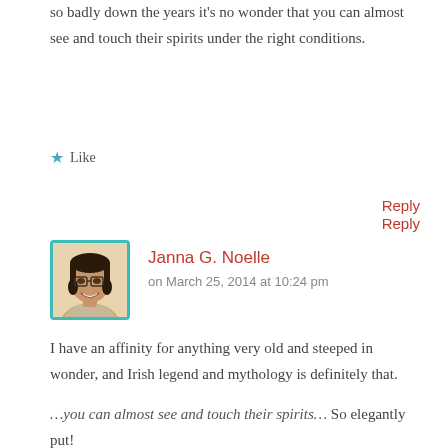he was in thrall to the ancient legends. The people of Ireland have suffered so badly down the years it's no wonder that you can almost see and touch their spirits under the right conditions.
★ Like
Reply
[Figure (photo): Profile photo of Janna G. Noelle, a woman with glasses and braided hair, smiling, with a teal border around the photo.]
Janna G. Noelle
on March 25, 2014 at 10:24 pm
I have an affinity for anything very old and steeped in wonder, and Irish legend and mythology is definitely that.
…you can almost see and touch their spirits… So elegantly put!
★ Like
Reply